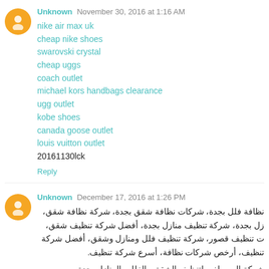Unknown  November 30, 2016 at 1:16 AM
nike air max uk
cheap nike shoes
swarovski crystal
cheap uggs
coach outlet
michael kors handbags clearance
ugg outlet
kobe shoes
canada goose outlet
louis vuitton outlet
20161130lck
Reply
Unknown  December 17, 2016 at 1:26 PM
نظافة فلل بجدة، شركات نظافة شقق بجدة، شركة نظافة شقق، زل بجدة، شركة تنظيف منازل بجدة، أفضل شركة تنظيف شقق، ت تنظيف قصور، شركة تنظيف فلل ومنازل وشقق، أفضل شركة تنظيف، أرخص شركات نظافة، أسرع شركة تنظيف.
شركة المصطفى لتنظيف الشقق والفلل والمنازل بجدة
شركة المصطفى لتنظيف الشقق والفلل والمنازل بجدة
ازل بجدة هي أكبر شركة موجودة في المملكة تختص بتنظيف كل الأماكن التي تريدها كالشقق والفلل والمنازل والمكاتب والشركات وإلخ